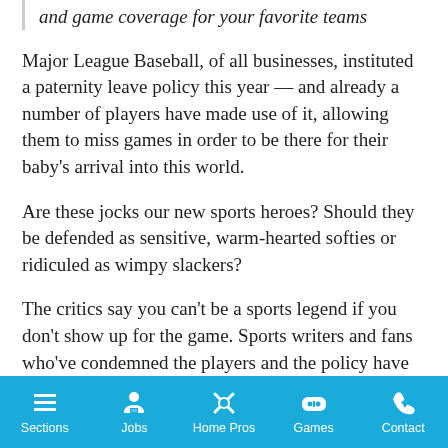and game coverage for your favorite teams
Major League Baseball, of all businesses, instituted a paternity leave policy this year — and already a number of players have made use of it, allowing them to miss games in order to be there for their baby's arrival into this world.
Are these jocks our new sports heroes? Should they be defended as sensitive, warm-hearted softies or ridiculed as wimpy slackers?
The critics say you can't be a sports legend if you don't show up for the game. Sports writers and fans who've condemned the players and the policy have been branded Neanderthals without feeling or compassion. What would happen to our great sports records if the likes of Lou Gehrig or Cal Ripkin had skipped a game or two to comfort a wife or caress a newborn? Would the Giants have won the Super Bowl if Phil Simms had focused on his
Sections  Jobs  Home Pros  Games  Contact